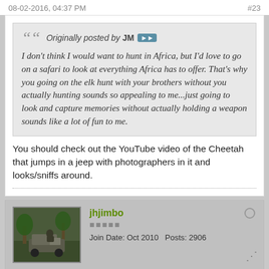08-02-2016, 04:37 PM    #23
Originally posted by JM
I don't think I would want to hunt in Africa, but I'd love to go on a safari to look at everything Africa has to offer. That's why you going on the elk hunt with your brothers without you actually hunting sounds so appealing to me...just going to look and capture memories without actually holding a weapon sounds like a lot of fun to me.
You should check out the YouTube video of the Cheetah that jumps in a jeep with photographers in it and looks/sniffs around.
jhjimbo
⬛⬛⬛⬛⬛
Join Date: Oct 2010   Posts: 2906